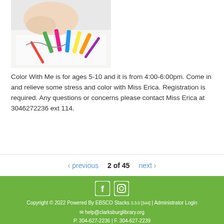[Figure (photo): Child drawing with colorful markers and pencils on white paper]
Color With Me is for ages 5-10 and it is from 4:00-6:00pm. Come in and relieve some stress and color with Miss Erica. Registration is required. Any questions or concerns please contact Miss Erica at 3046272236 ext 114.
‹ previous  2 of 45  next ›
Copyright © 2022 Powered By EBSCO Stacks 3.3.0 [344] | Administrator Login
✉ help@clarksburglibrary.org
P. 304-627-2236 | F. 304-627-2239